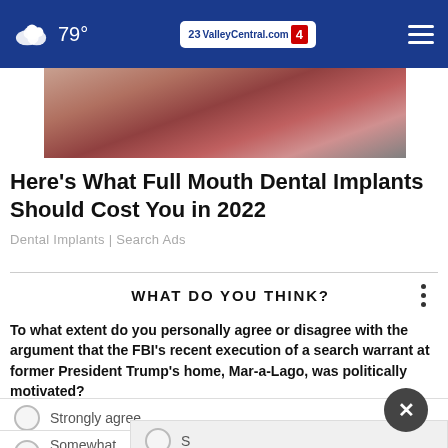79° ValleyCentral.com
[Figure (photo): Close-up skin/lip photo used as article thumbnail for dental implants advertisement]
Here's What Full Mouth Dental Implants Should Cost You in 2022
Dental Implants | Search Ads
WHAT DO YOU THINK?
To what extent do you personally agree or disagree with the argument that the FBI's recent execution of a search warrant at former President Trump's home, Mar-a-Lago, was politically motivated?
Strongly agree
S
Somewhat disagree